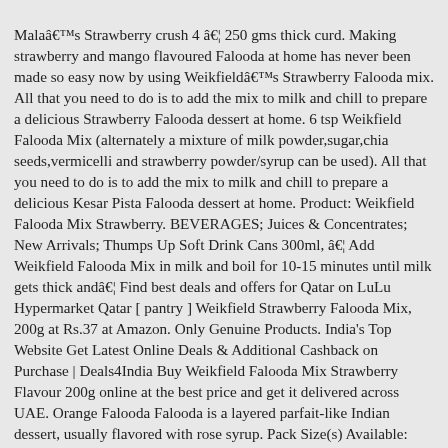Malaâs Strawberry crush 4 â¦ 250 gms thick curd. Making strawberry and mango flavoured Falooda at home has never been made so easy now by using Weikfieldâs Strawberry Falooda mix. All that you need to do is to add the mix to milk and chill to prepare a delicious Strawberry Falooda dessert at home. 6 tsp Weikfield Falooda Mix (alternately a mixture of milk powder,sugar,chia seeds,vermicelli and strawberry powder/syrup can be used). All that you need to do is to add the mix to milk and chill to prepare a delicious Kesar Pista Falooda dessert at home. Product: Weikfield Falooda Mix Strawberry. BEVERAGES; Juices & Concentrates; New Arrivals; Thumps Up Soft Drink Cans 300ml, â¦ Add Weikfield Falooda Mix in milk and boil for 10-15 minutes until milk gets thick andâ¦ Find best deals and offers for Qatar on LuLu Hypermarket Qatar [ pantry ] Weikfield Strawberry Falooda Mix, 200g at Rs.37 at Amazon. Only Genuine Products. India's Top Website Get Latest Online Deals & Additional Cashback on Purchase | Deals4India Buy Weikfield Falooda Mix Strawberry Flavour 200g online at the best price and get it delivered across UAE. Orange Falooda Falooda is a layered parfait-like Indian dessert, usually flavored with rose syrup. Pack Size(s) Available: 6x200g. How To Make Homemade Strawberry Wine â Secondary Fermentation (VIDEO) admin November 9, 2018. Find helpful customer reviews and review ratings for Weikfield Falooda Mix Strawberry Flavour 200g at